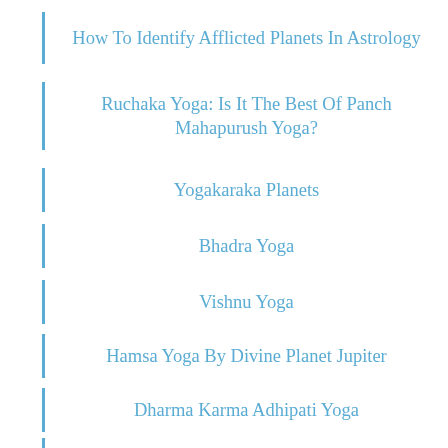How To Identify Afflicted Planets In Astrology
Ruchaka Yoga: Is It The Best Of Panch Mahapurush Yoga?
Yogakaraka Planets
Bhadra Yoga
Vishnu Yoga
Hamsa Yoga By Divine Planet Jupiter
Dharma Karma Adhipati Yoga
Neecha Bhanga Rajyoga: In Depth Review